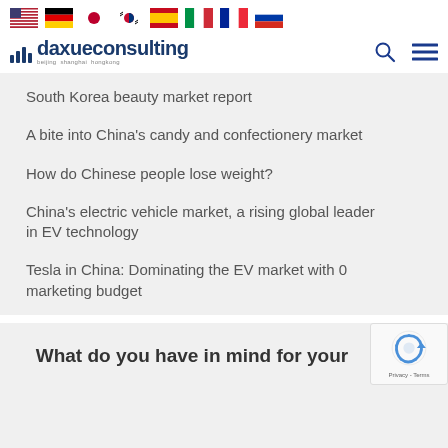[Figure (screenshot): Flag icons for USA, Germany, Japan, South Korea, Spain, Italy, France, Russia displayed in a horizontal row]
[Figure (logo): Daxue Consulting logo with bar chart icon, dark blue wordmark, and tagline 'beijing shanghai hongkong'. Search and hamburger menu icons on the right.]
South Korea beauty market report
A bite into China's candy and confectionery market
How do Chinese people lose weight?
China's electric vehicle market, a rising global leader in EV technology
Tesla in China: Dominating the EV market with 0 marketing budget
What do you have in mind for your